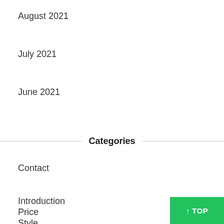August 2021
July 2021
June 2021
Categories
Contact
Introduction
Price
Style